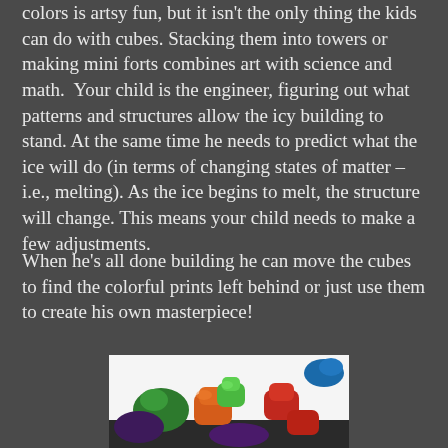colors is artsy fun, but it isn't the only thing the kids can do with cubes. Stacking them into towers or making mini forts combines art with science and math. Your child is the engineer, figuring out what patterns and structures allow the icy building to stand. At the same time he needs to predict what the ice will do (in terms of changing states of matter – i.e., melting). As the ice begins to melt, the structure will change. This means your child needs to make a few adjustments.
When he's all done building he can move the cubes to find the colorful prints left behind or just use them to create his own masterpiece!
[Figure (photo): Colorful gummy candy pieces arranged on a white surface, showing various colors including green, orange, red, purple, and blue.]